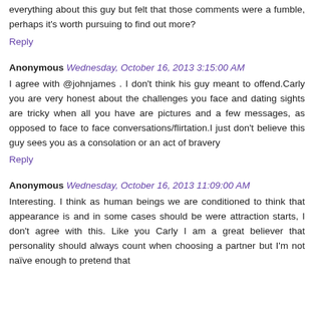everything about this guy but felt that those comments were a fumble, perhaps it's worth pursuing to find out more?
Reply
Anonymous Wednesday, October 16, 2013 3:15:00 AM
I agree with @johnjames . I don't think his guy meant to offend.Carly you are very honest about the challenges you face and dating sights are tricky when all you have are pictures and a few messages, as opposed to face to face conversations/flirtation.I just don't believe this guy sees you as a consolation or an act of bravery
Reply
Anonymous Wednesday, October 16, 2013 11:09:00 AM
Interesting. I think as human beings we are conditioned to think that appearance is and in some cases should be were attraction starts, I don't agree with this. Like you Carly I am a great believer that personality should always count when choosing a partner but I'm not naïve enough to pretend that